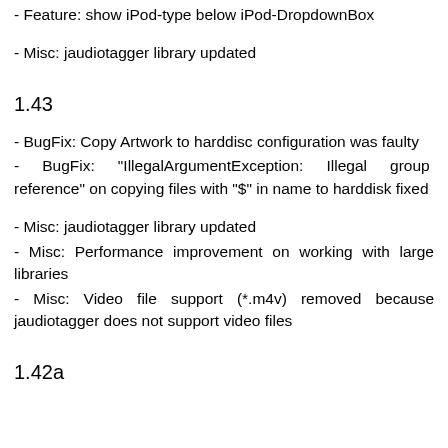- Feature: show iPod-type below iPod-DropdownBox
- Misc: jaudiotagger library updated
1.43
- BugFix: Copy Artwork to harddisc configuration was faulty
- BugFix: "IllegalArgumentException: Illegal group reference" on copying files with "$" in name to harddisk fixed
- Misc: jaudiotagger library updated
- Misc: Performance improvement on working with large libraries
- Misc: Video file support (*.m4v) removed because jaudiotagger does not support video files
1.42a